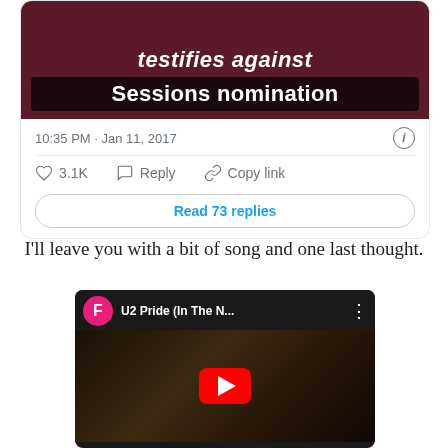[Figure (screenshot): Tweet card showing a news image with text 'testifies against Sessions nomination' on a dark red background. Shows timestamp 10:35 PM · Jan 11, 2017, with 3.1K likes, Reply, Copy link actions, and a 'Read 73 replies' button.]
I'll leave you with a bit of song and one last thought.
[Figure (screenshot): YouTube video embed showing 'U2 Pride (In The N...' with a pink F avatar, dark concert background, and a red YouTube play button.]